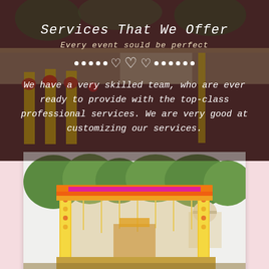Services That We Offer
Every event sould be perfect
[Figure (illustration): Decorative divider with white dots and three heart symbols]
We have a very skilled team, who are ever ready to provide with the top-class professional services. We are very good at customizing our services.
[Figure (photo): A colorful Indian wedding mandap/stage with yellow pillars, orange and pink canopy, surrounded by green trees, with a white dome structure visible in the background.]